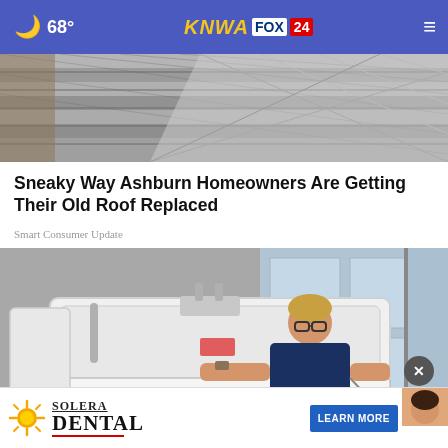68° KNWA FOX24
[Figure (photo): Aerial/close-up view of roof shingles in black and white/grey tones]
Sneaky Way Ashburn Homeowners Are Getting Their Old Roof Replaced
Smart Consumer Update
[Figure (photo): Man with glasses sitting inside a white walk-in bathtub with accessibility symbol, in a bathroom showroom]
[Figure (infographic): Solera Dental advertisement banner with sun logo, DENTAL text, and LEARN MORE button]